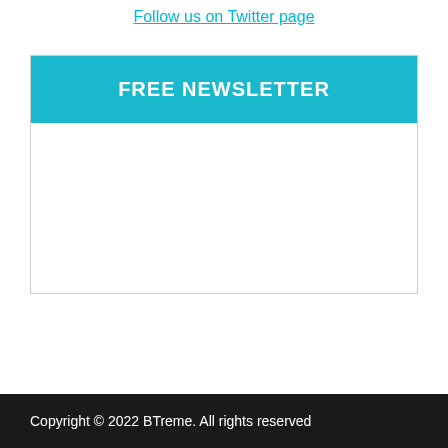Follow us on Twitter page
FREE NEWSLETTER
Copyright © 2022 BTreme. All rights reserved